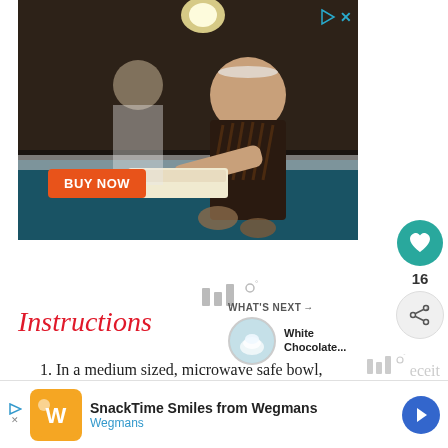[Figure (photo): Advertisement photo showing a woman working at a food truck window handing food to customers. A 'BUY NOW' orange button overlays the lower-left of the image. Play and X icons appear in upper right corner.]
[Figure (other): Heart/like button (teal circle with white heart icon), like count 16, and share button on right sidebar]
[Figure (other): Weather icon area with bar chart style symbol and degree symbol]
Instructions
[Figure (photo): WHAT'S NEXT thumbnail for White Chocolate... article with small circular image]
In a medium sized, microwave safe bowl, melt 1 ½ cups of the white chocolate melts in
[Figure (other): Bottom advertisement banner: SnackTime Smiles from Wegmans, Wegmans brand logo and navigation arrow]